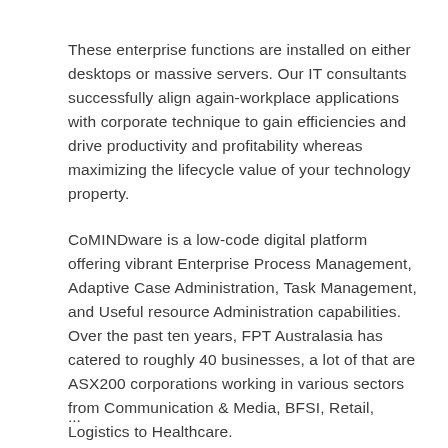These enterprise functions are installed on either desktops or massive servers. Our IT consultants successfully align again-workplace applications with corporate technique to gain efficiencies and drive productivity and profitability whereas maximizing the lifecycle value of your technology property.
CoMINDware is a low-code digital platform offering vibrant Enterprise Process Management, Adaptive Case Administration, Task Management, and Useful resource Administration capabilities. Over the past ten years, FPT Australasia has catered to roughly 40 businesses, a lot of that are ASX200 corporations working in various sectors from Communication & Media, BFSI, Retail, Logistics to Healthcare.
...